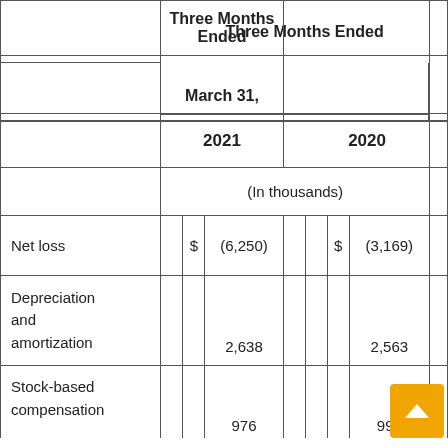|  |  |  | Three Months Ended March 31, 2021 |  |  |  | Three Months Ended March 31, 2020 |  |
| --- | --- | --- | --- | --- | --- | --- | --- | --- |
|  |  |  | (In thousands) |  |  |  | (In thousands) |  |
| Net loss |  | $ | (6,250) |  |  | $ | (3,169) |  |
| Depreciation and amortization |  |  | 2,638 |  |  |  | 2,563 |  |
| Stock-based compensation |  |  | 976 |  |  |  | 992 |  |